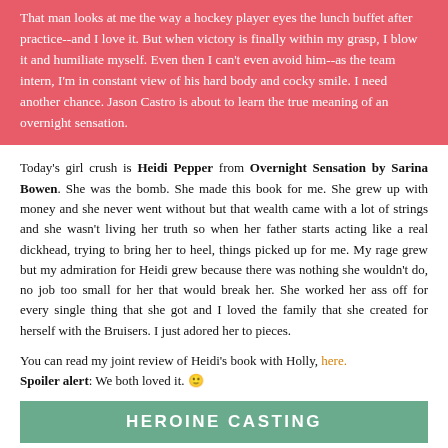That man looks at me the way a hockey player eyes the lunch buffet after practice--and I love it. But when victory is finally within my grasp, I blow it and humiliate myself. Even then I can't even avoid him--as the team intern, I'm in constant view of his hard body and cocky smile. I need another chance. Jason Castro is about to learn the true meaning of an overnight sensation.
Today's girl crush is Heidi Pepper from Overnight Sensation by Sarina Bowen. She was the bomb. She made this book for me. She grew up with money and she never went without but that wealth came with a lot of strings and she wasn't living her truth so when her father starts acting like a real dickhead, trying to bring her to heel, things picked up for me. My rage grew but my admiration for Heidi grew because there was nothing she wouldn't do, no job too small for her that would break her. She worked her ass off for every single thing that she got and I loved the family that she created for herself with the Bruisers. I just adored her to pieces.
You can read my joint review of Heidi's book with Holly, here. Spoiler alert: We both loved it.
HEROINE CASTING
[Figure (photo): Partial photo of a woman, cropped at bottom of page, against a light grey-blue background]